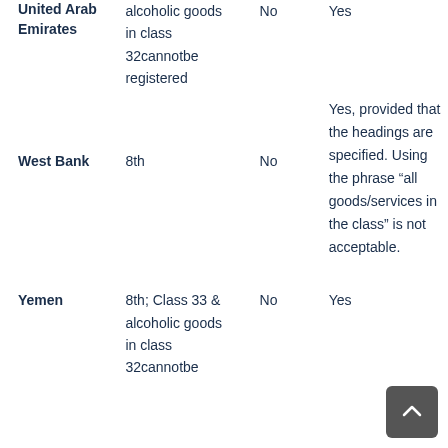| Country | Edition | No | Yes |
| --- | --- | --- | --- |
| United Arab Emirates | alcoholic goods in class 32cannotbe registered | No | Yes |
| West Bank | 8th | No | Yes, provided that the headings are specified. Using the phrase “all goods/services in the class” is not acceptable. |
| Yemen | 8th; Class 33 & alcoholic goods in class 32cannotbe | No | Yes |